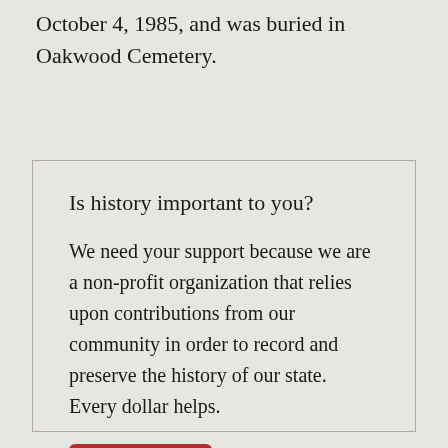October 4, 1985, and was buried in Oakwood Cemetery.
Is history important to you?
We need your support because we are a non-profit organization that relies upon contributions from our community in order to record and preserve the history of our state. Every dollar helps.
Donate now